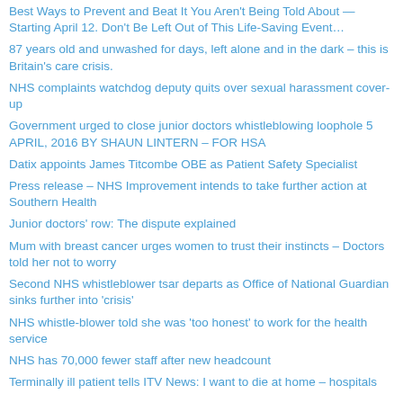Best Ways to Prevent and Beat It You Aren't Being Told About — Starting April 12. Don't Be Left Out of This Life-Saving Event…
87 years old and unwashed for days, left alone and in the dark – this is Britain's care crisis.
NHS complaints watchdog deputy quits over sexual harassment cover-up
Government urged to close junior doctors whistleblowing loophole 5 APRIL, 2016 BY SHAUN LINTERN – FOR HSA
Datix appoints James Titcombe OBE as Patient Safety Specialist
Press release – NHS Improvement intends to take further action at Southern Health
Junior doctors' row: The dispute explained
Mum with breast cancer urges women to trust their instincts – Doctors told her not to worry
Second NHS whistleblower tsar departs as Office of National Guardian sinks further into 'crisis'
NHS whistle-blower told she was 'too honest' to work for the health service
NHS has 70,000 fewer staff after new headcount
Terminally ill patient tells ITV News: I want to die at home – hospitals